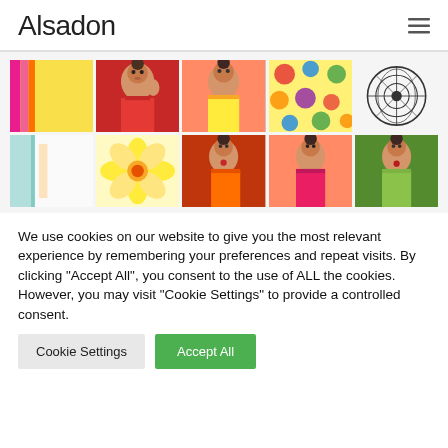Alsadon
[Figure (photo): A 5x2 grid of thumbnail images showing Indian women in colorful sarees and decorative patterns/flowers]
We use cookies on our website to give you the most relevant experience by remembering your preferences and repeat visits. By clicking "Accept All", you consent to the use of ALL the cookies. However, you may visit "Cookie Settings" to provide a controlled consent.
Cookie Settings  Accept All